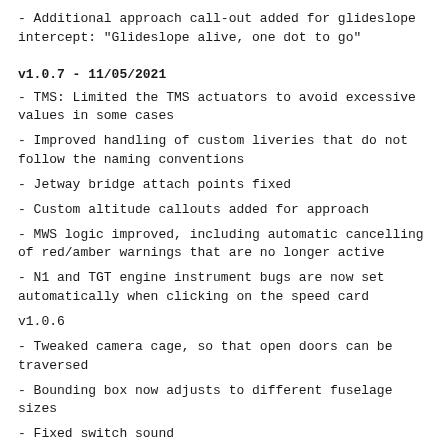- Additional approach call-out added for glideslope intercept: "Glideslope alive, one dot to go"
v1.0.7 - 11/05/2021
- TMS: Limited the TMS actuators to avoid excessive values in some cases
- Improved handling of custom liveries that do not follow the naming conventions
- Jetway bridge attach points fixed
- Custom altitude callouts added for approach
- MWS logic improved, including automatic cancelling of red/amber warnings that are no longer active
- N1 and TGT engine instrument bugs are now set automatically when clicking on the speed card
v1.0.6
- Tweaked camera cage, so that open doors can be traversed
- Bounding box now adjusts to different fuselage sizes
- Fixed switch sound
- Refined gear friction values and chock logic
- Accounted for more brake behaviours (given hydraulic